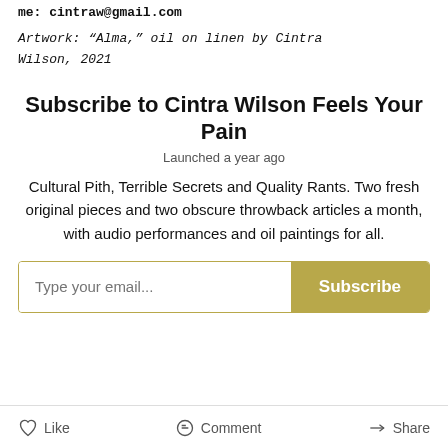me: cintraw@gmail.com
Artwork: “Alma,” oil on linen by Cintra Wilson, 2021
Subscribe to Cintra Wilson Feels Your Pain
Launched a year ago
Cultural Pith, Terrible Secrets and Quality Rants. Two fresh original pieces and two obscure throwback articles a month, with audio performances and oil paintings for all.
Type your email... Subscribe
Like   Comment   Share